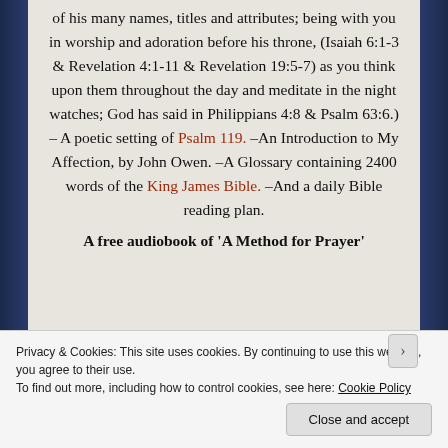of his many names, titles and attributes; being with you in worship and adoration before his throne, (Isaiah 6:1-3 & Revelation 4:1-11 & Revelation 19:5-7) as you think upon them throughout the day and meditate in the night watches; God has said in Philippians 4:8 & Psalm 63:6.) – A poetic setting of Psalm 119. –An Introduction to My Affection, by John Owen. –A Glossary containing 2400 words of the King James Bible. –And a daily Bible reading plan.
A free audiobook of 'A Method for Prayer'
Privacy & Cookies: This site uses cookies. By continuing to use this website, you agree to their use. To find out more, including how to control cookies, see here: Cookie Policy